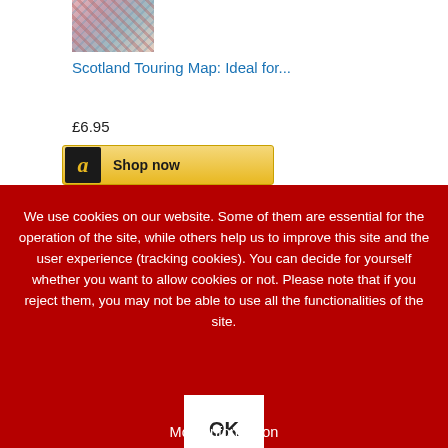[Figure (photo): Partial product image of Scotland Touring Map at top of page]
Scotland Touring Map: Ideal for...
£6.95
[Figure (screenshot): Amazon 'Shop now' button with Amazon logo icon and gold background]
[Figure (logo): amazon.co.uk logo in white box]
We use cookies on our website. Some of them are essential for the operation of the site, while others help us to improve this site and the user experience (tracking cookies). You can decide for yourself whether you want to allow cookies or not. Please note that if you reject them, you may not be able to use all the functionalities of the site.
OK
More information